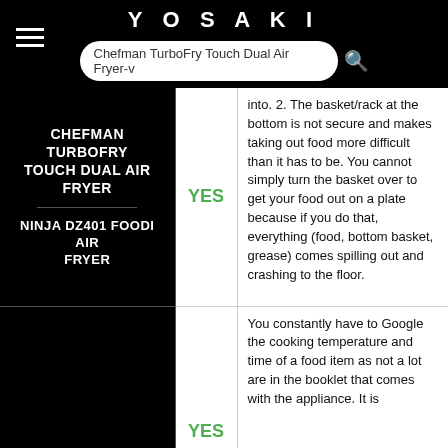YOSAKI | Chefman TurboFry Touch Dual Air Fryer-v
| Product | Yes/No | Description |
| --- | --- | --- |
| CHEFMAN TURBOFRY TOUCH DUAL AIR FRYER | YES | into. 2. The basket/rack at the bottom is not secure and makes taking out food more difficult than it has to be. You cannot simply turn the basket over to get your food out on a plate because if you do that, everything (food, bottom basket, grease) comes spilling out and crashing to the floor. |
| NINJA DZ401 FOODI AIR FRYER | YES | You constantly have to Google the cooking temperature and time of a food item as not a lot are in the booklet that comes with the appliance. It is considered to be a bit... |